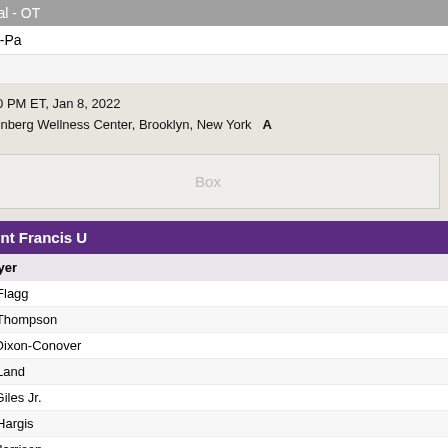| Final - OT |
| --- |
| StF-Pa |
| LIU |
2:00 PM ET, Jan 8, 2022
Steinberg Wellness Center, Brooklyn, New York
Box
Saint Francis U
| Player |
| --- |
| M. Flagg |
| M. Thompson |
| R. Dixon-Conover |
| M. Land |
| R. Giles Jr. |
| M. Hargis |
| Z. Harrison |
| J. Coleman |
| Totals |
LIU